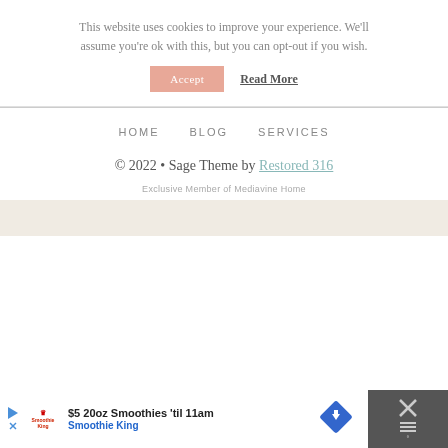This website uses cookies to improve your experience. We'll assume you're ok with this, but you can opt-out if you wish.
Accept   Read More
HOME   BLOG   SERVICES
© 2022 • Sage Theme by Restored 316
Exclusive Member of Mediavine Home
[Figure (screenshot): Advertisement banner for Smoothie King: '$5 20oz Smoothies 'til 11am' with Smoothie King logo, navigation arrow icon, and close button]